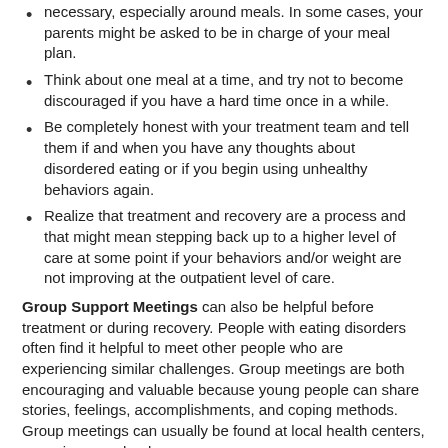necessary, especially around meals. In some cases, your parents might be asked to be in charge of your meal plan.
Think about one meal at a time, and try not to become discouraged if you have a hard time once in a while.
Be completely honest with your treatment team and tell them if and when you have any thoughts about disordered eating or if you begin using unhealthy behaviors again.
Realize that treatment and recovery are a process and that might mean stepping back up to a higher level of care at some point if your behaviors and/or weight are not improving at the outpatient level of care.
Group Support Meetings can also be helpful before treatment or during recovery. People with eating disorders often find it helpful to meet other people who are experiencing similar challenges. Group meetings are both encouraging and valuable because young people can share stories, feelings, accomplishments, and coping methods. Group meetings can usually be found at local health centers, agencies, or schools.
Therapy: Because an eating disorder is both a medical and psychological condition, most people with eating disorders meet with a therapist or counselor as part of treatment. Although some people may feel embarrassed about going to therapy, it's important to keep an open mind. Many teens, including those with and without eating disorders, find